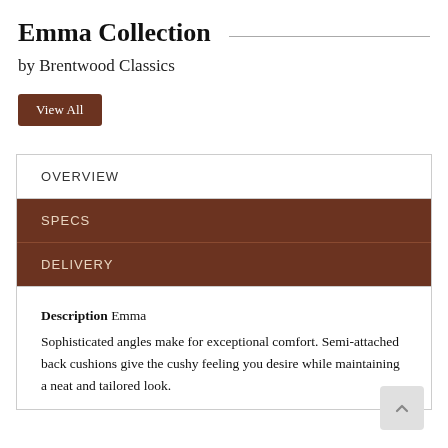Emma Collection
by Brentwood Classics
View All
OVERVIEW
SPECS
DELIVERY
Description Emma
Sophisticated angles make for exceptional comfort. Semi-attached back cushions give the cushy feeling you desire while maintaining a neat and tailored look.